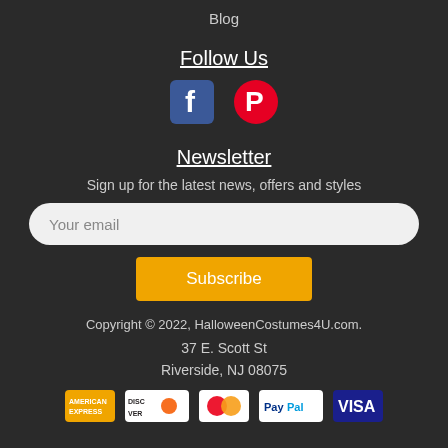Blog
Follow Us
[Figure (logo): Facebook and Pinterest social media icons]
Newsletter
Sign up for the latest news, offers and styles
Your email
Subscribe
Copyright © 2022, HalloweenCostumes4U.com.
37 E. Scott St
Riverside, NJ 08075
[Figure (logo): Payment method logos: American Express, Discover, Mastercard, PayPal, Visa]